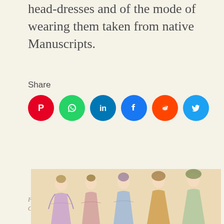head-dresses and of the mode of wearing them taken from native Manuscripts.
Share
[Figure (infographic): Six social media sharing icons in circles: Pinterest (red), WhatsApp (green), LinkedIn (blue), Facebook (dark blue), Reddit (orange-red), Twitter (light blue)]
Filed under 1770, 18th Century, America, Latin America, Mexico Tagged Crafts, Feather Headdresses
[Figure (photo): Historical illustration showing several women in 18th century fashion with elaborate hairstyles and dresses, partially visible at bottom of page]